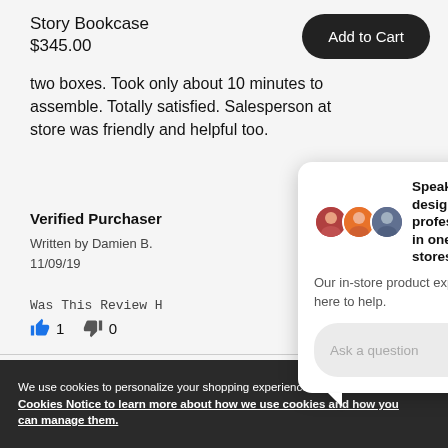Story Bookcase
$345.00
Add to Cart
two boxes. Took only about 10 minutes to assemble. Totally satisfied. Salesperson at store was friendly and helpful too.
Verified Purchaser
Written by Damien B.
11/09/19
Was This Review H
👍 1  👎 0
[Figure (screenshot): Chat popup widget: 'Speak with a design professional in one of our stores' with avatars, body text 'Our in-store product experts are here to help.' and an 'Ask a question' input field with send button]
We use cookies to personalize your shopping experience. View our Cookies Notice to learn more about how we use cookies and how you can manage them.